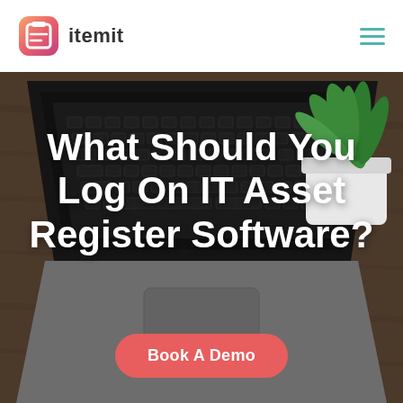[Figure (logo): itemit logo: rounded square icon with bracket/clipboard symbol in gradient pink-orange-red, with text 'itemit' beside it]
[Figure (photo): Background hero image: close-up of an open laptop with a keyboard on a wooden desk, with a small potted green plant in the top right corner. Dark/grey tones.]
What Should You Log On IT Asset Register Software?
Book A Demo